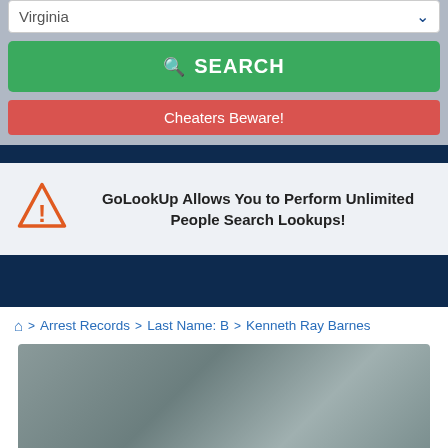Virginia
SEARCH
Cheaters Beware!
GoLookUp Allows You to Perform Unlimited People Search Lookups!
Home > Arrest Records > Last Name: B > Kenneth Ray Barnes
[Figure (photo): Blurred/placeholder mugshot photo area]